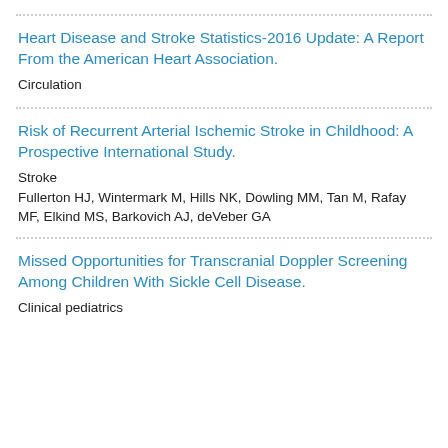Heart Disease and Stroke Statistics-2016 Update: A Report From the American Heart Association.
Circulation
Risk of Recurrent Arterial Ischemic Stroke in Childhood: A Prospective International Study.
Stroke
Fullerton HJ, Wintermark M, Hills NK, Dowling MM, Tan M, Rafay MF, Elkind MS, Barkovich AJ, deVeber GA
Missed Opportunities for Transcranial Doppler Screening Among Children With Sickle Cell Disease.
Clinical pediatrics